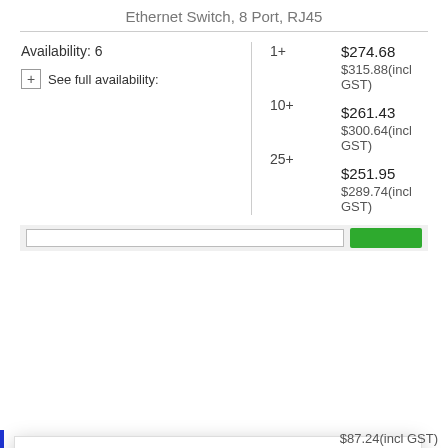Ethernet Switch, 8 Port, RJ45
| Availability | Qty | Price |
| --- | --- | --- |
| Availability: 6
+ See full availability: | 1+ | $274.68
$315.88(incl GST) |
|  | 10+ | $261.43
$300.64(incl GST) |
|  | 25+ | $251.95
$289.74(incl GST) |
[Figure (screenshot): Modal dialog asking 'Would you like to go to our US Website?' with Yes and No buttons, US flag, and country/redirect options.]
$87.24(incl GST)